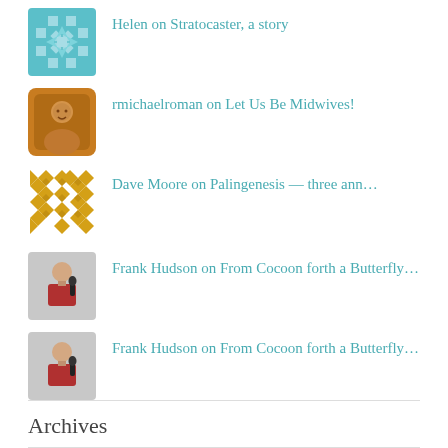Helen on Stratocaster, a story
rmichaelroman on Let Us Be Midwives!
Dave Moore on Palingenesis — three ann…
Frank Hudson on From Cocoon forth a Butterfly…
Frank Hudson on From Cocoon forth a Butterfly…
Archives